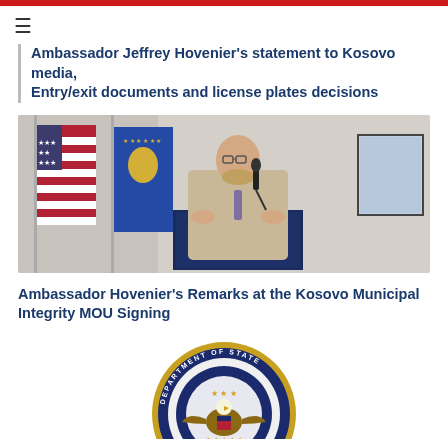Ambassador Jeffrey Hovenier's statement to Kosovo media, Entry/exit documents and license plates decisions
[Figure (photo): Ambassador Jeffrey Hovenier speaking at a podium with microphone, wearing a tan suit. American flag and Kosovo flag visible in the background.]
Ambassador Hovenier's Remarks at the Kosovo Municipal Integrity MOU Signing
[Figure (logo): U.S. Department of State seal/logo — circular seal with eagle, stars, and text 'Department of State' around the border, gold and blue coloring.]